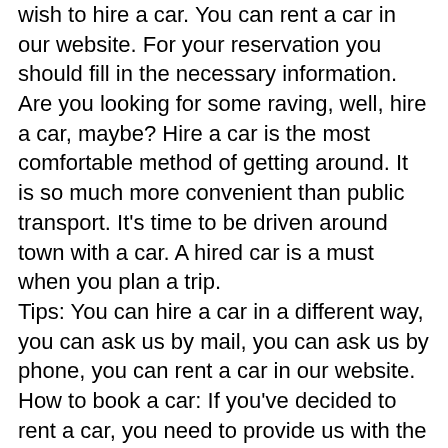wish to hire a car. You can rent a car in our website. For your reservation you should fill in the necessary information. Are you looking for some raving, well, hire a car, maybe? Hire a car is the most comfortable method of getting around. It is so much more convenient than public transport. It's time to be driven around town with a car. A hired car is a must when you plan a trip.
Tips: You can hire a car in a different way, you can ask us by mail, you can ask us by phone, you can rent a car in our website.
How to book a car: If you've decided to rent a car, you need to provide us with the following information:
Name
Age
Number of passengers
Exact location
Company